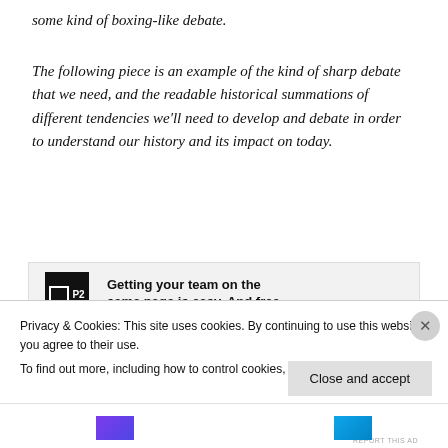some kind of boxing-like debate.
The following piece is an example of the kind of sharp debate that we need, and the readable historical summations of different tendencies we'll need to develop and debate in order to understand our history and its impact on today.
[Figure (other): P2 advertisement banner: Getting your team on the same page is easy. And free.]
REPORT THIS AD
The Fir...
Privacy & Cookies: This site uses cookies. By continuing to use this website, you agree to their use.
To find out more, including how to control cookies, see here: Cookie Policy
Close and accept